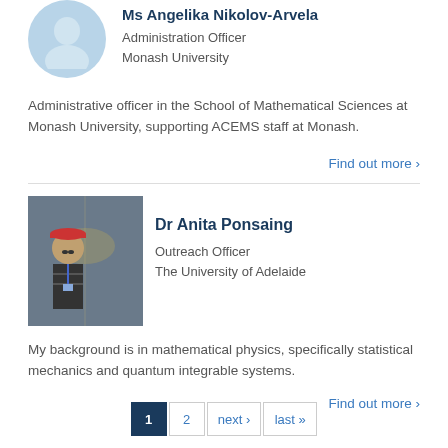[Figure (illustration): Placeholder avatar icon for Ms Angelika Nikolov-Arvela, a blue circular avatar with a generic person silhouette]
Ms Angelika Nikolov-Arvela
Administration Officer
Monash University
Administrative officer in the School of Mathematical Sciences at Monash University, supporting ACEMS staff at Monash.
Find out more ›
[Figure (photo): Photo of Dr Anita Ponsaing wearing a red hard hat and standing in what appears to be a particle accelerator tunnel]
Dr Anita Ponsaing
Outreach Officer
The University of Adelaide
My background is in mathematical physics, specifically statistical mechanics and quantum integrable systems.
Find out more ›
1
2
next ›
last »